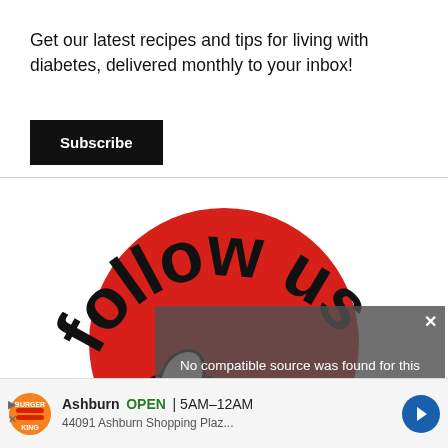Get our latest recipes and tips for living with diabetes, delivered monthly to your inbox!
Subscribe
[Figure (illustration): Follow us graphic showing bold 'follow us' text arranged in an arc around a large red circle, with a cartoon hand tapping/pointing at the circle]
[Figure (screenshot): Video player overlay showing 'No compatible source was found for this media.' error message on a dark semi-transparent background]
[Figure (infographic): Burger King ad showing Ashburn location OPEN 5AM-12AM at 44091 Ashburn Shopping Plaz... with logo and navigation arrow]